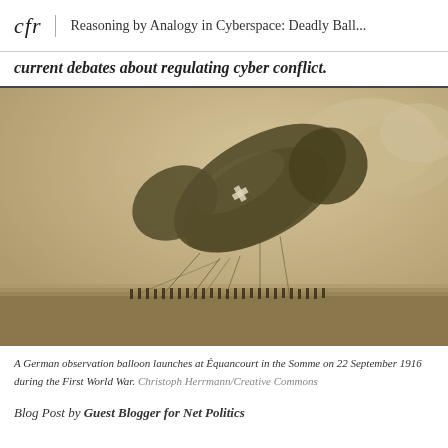cfr | Reasoning by Analogy in Cyberspace: Deadly Ball...
current debates about regulating cyber conflict.
[Figure (photo): Sepia-toned historical photograph of a German observation balloon launching at Équancourt in the Somme on 22 September 1916 during the First World War. A large elongated balloon with an Iron Cross marking is shown angled in the air with ropes/cables visible and a group of soldiers standing on the ground below.]
A German observation balloon launches at Équancourt in the Somme on 22 September 1916 during the First World War. Christoph Herrmann/Creative Commons
Blog Post by Guest Blogger for Net Politics